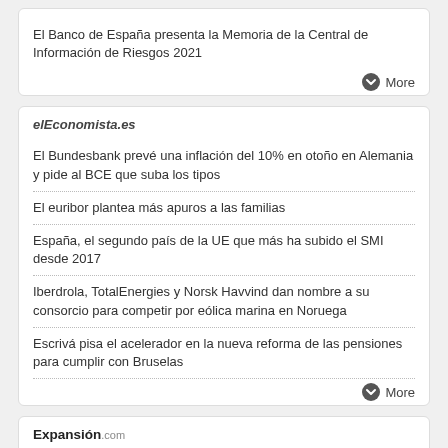El Banco de España presenta la Memoria de la Central de Información de Riesgos 2021
More
elEconomista.es
El Bundesbank prevé una inflación del 10% en otoño en Alemania y pide al BCE que suba los tipos
El euribor plantea más apuros a las familias
España, el segundo país de la UE que más ha subido el SMI desde 2017
Iberdrola, TotalEnergies y Norsk Havvind dan nombre a su consorcio para competir por eólica marina en Noruega
Escrivá pisa el acelerador en la nueva reforma de las pensiones para cumplir con Bruselas
More
Expansión.com
La huelga de pilotos de Easyjet provoca ocho cancelaciones hoy